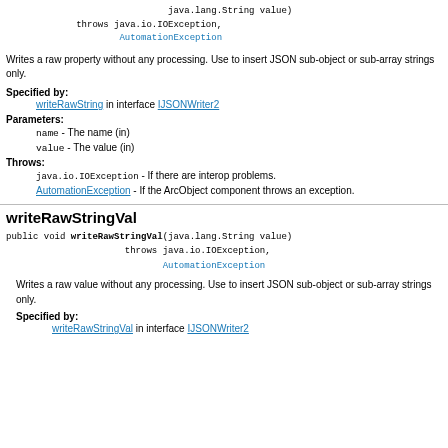java.lang.String value)
        throws java.io.IOException,
               AutomationException
Writes a raw property without any processing. Use to insert JSON sub-object or sub-array strings only.
Specified by:
writeRawString in interface IJSONWriter2
Parameters:
name - The name (in)
value - The value (in)
Throws:
java.io.IOException - If there are interop problems.
AutomationException - If the ArcObject component throws an exception.
writeRawStringVal
public void writeRawStringVal(java.lang.String value)
                       throws java.io.IOException,
                              AutomationException
Writes a raw value without any processing. Use to insert JSON sub-object or sub-array strings only.
Specified by:
writeRawStringVal in interface IJSONWriter2